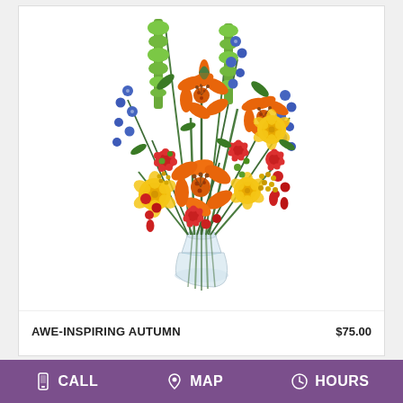[Figure (photo): A colorful flower arrangement in a clear glass vase featuring orange lilies, yellow roses, blue delphinium, red carnations, green bells of Ireland, and red berries/tulips with yellow accent flowers.]
AWE-INSPIRING AUTUMN
$75.00
CALL   MAP   HOURS